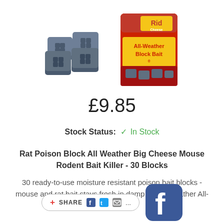[Figure (photo): Two product images: blue rat poison blocks on the left, and a Big Cheese All-Weather Block Bait package (red/yellow packaging) on the right]
£9.85
Stock Status: ✓ In Stock
Rat Poison Block All Weather Big Cheese Mouse Rodent Bait Killer - 30 Blocks
30 ready-to-use moisture resistant poison bait blocks - mouse and rat bait stays fresh in damp or wet weather All-weat...
[Figure (other): Share button with social media icons (Facebook, Twitter, Email) and a large Facebook logo icon]